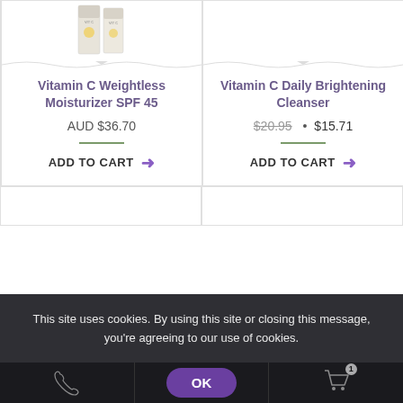[Figure (photo): Product image: Vitamin C Weightless Moisturizer SPF 45 packaging — white/beige box with yellow detail]
Vitamin C Weightless Moisturizer SPF 45
AUD $36.70
ADD TO CART →
[Figure (photo): Product image area for Vitamin C Daily Brightening Cleanser — empty/white]
Vitamin C Daily Brightening Cleanser
$20.95 • $15.71
ADD TO CART →
This site uses cookies. By using this site or closing this message, you're agreeing to our use of cookies.